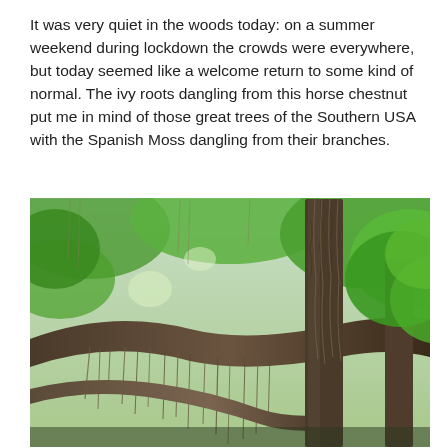It was very quiet in the woods today: on a summer weekend during lockdown the crowds were everywhere, but today seemed like a welcome return to some kind of normal. The ivy roots dangling from this horse chestnut put me in mind of those great trees of the Southern USA with the Spanish Moss dangling from their branches.
[Figure (photo): Photograph looking up into the canopy of a horse chestnut tree, showing large gnarled branches draped with hanging ivy roots and tendrils, surrounded by bright green summer leaves and dappled light.]